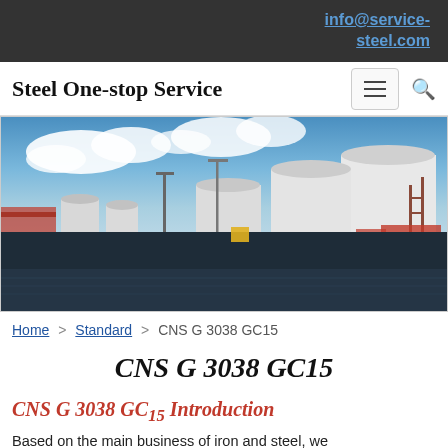info@service-steel.com
Steel One-stop Service
[Figure (photo): Industrial storage tanks and facilities at a port/waterfront, with large white cylindrical tanks, equipment, and scaffolding under a partly cloudy sky.]
Home > Standard > CNS G 3038 GC15
CNS G 3038 GC15
CNS G 3038 GC15 Introduction
Based on the main business of iron and steel, we